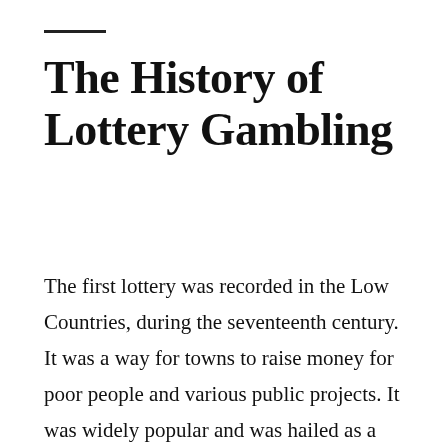The History of Lottery Gambling
The first lottery was recorded in the Low Countries, during the seventeenth century. It was a way for towns to raise money for poor people and various public projects. It was widely popular and was hailed as a method of painless taxation. The oldest lottery still in existence is the Staatsloterij, founded in 1726